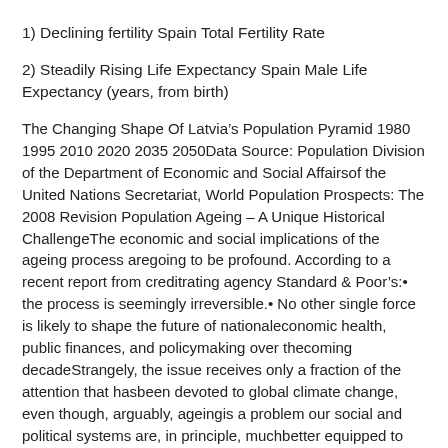1) Declining fertility Spain Total Fertility Rate
2) Steadily Rising Life Expectancy Spain Male Life Expectancy (years, from birth)
The Changing Shape Of Latvia’s Population Pyramid 1980 1995 2010 2020 2035 2050Data Source: Population Division of the Department of Economic and Social Affairsof the United Nations Secretariat, World Population Prospects: The 2008 Revision Population Ageing – A Unique Historical ChallengeThe economic and social implications of the ageing process aregoing to be profound. According to a recent report from creditrating agency Standard & Poor’s:• the process is seemingly irreversible.• No other single force is likely to shape the future of nationaleconomic health, public finances, and policymaking over thecoming decadeStrangely, the issue receives only a fraction of the attention that hasbeen devoted to global climate change, even though, arguably, ageingis a problem our social and political systems are, in principle, muchbetter equipped to deal with.